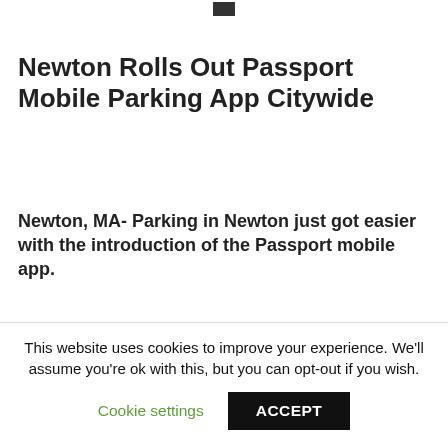Newton Rolls Out Passport Mobile Parking App Citywide
Newton, MA- Parking in Newton just got easier with the introduction of the Passport mobile app.
Newton is the latest city in Massachusetts to offer a payment app
This website uses cookies to improve your experience. We'll assume you're ok with this, but you can opt-out if you wish. Cookie settings ACCEPT